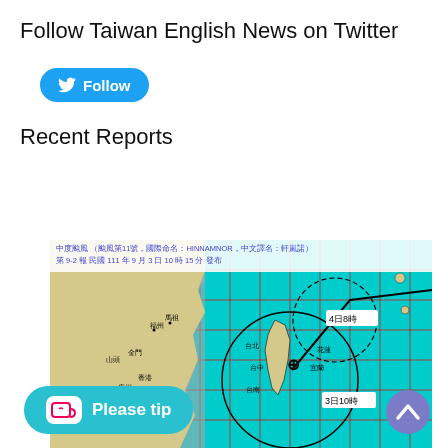Follow Taiwan English News on Twitter
[Figure (other): Twitter Follow button (blue rounded rectangle with bird icon and 'Follow' text)]
Recent Reports
[Figure (map): Typhoon track map showing Taiwan region with Chinese text header indicating Typhoon Hinnamnor (中度颱風，颱風第11號，國際命名：HINNAMNOR，中文譯名：軒嵐諾)，第9-2報，民國111年9月3日10時15分發布. Shows typhoon circle centered near Taiwan with forecast position labels 3日10時 and 4日8時.]
[Figure (other): Ko-fi 'Please tip' button (teal rounded with coffee cup icon)]
[Figure (other): Purple upward chevron scroll-to-top button]